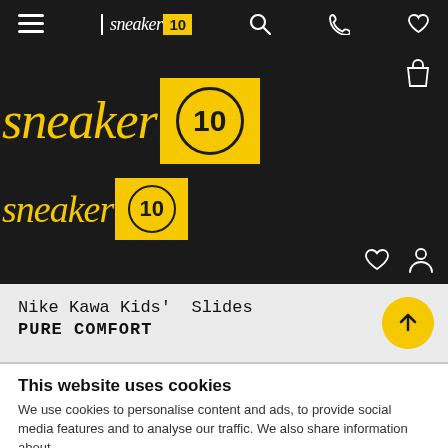[Figure (screenshot): Navigation bar with hamburger menu, Sneaker10 logo, search icon, phone icon, and heart icon on dark background]
[Figure (logo): Hero section on dark background showing Sneaker10 logo in large and small sizes in yellow italic script with yellow badge squares containing '10' with circle border, shopping bag icon, heart and person icons]
Nike Kawa Kids' Slides
PURE COMFORT
This website uses cookies
We use cookies to personalise content and ads, to provide social media features and to analyse our traffic. We also share information about...